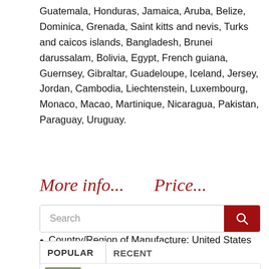Guatemala, Honduras, Jamaica, Aruba, Belize, Dominica, Grenada, Saint kitts and nevis, Turks and caicos islands, Bangladesh, Brunei darussalam, Bolivia, Egypt, French guiana, Guernsey, Gibraltar, Guadeloupe, Iceland, Jersey, Jordan, Cambodia, Liechtenstein, Luxembourg, Monaco, Macao, Martinique, Nicaragua, Pakistan, Paraguay, Uruguay.
Country/Region of Manufacture: United States
More info...   Price...
Search
POPULAR   RECENT
2020 California Dmv Ca Yellow Registration